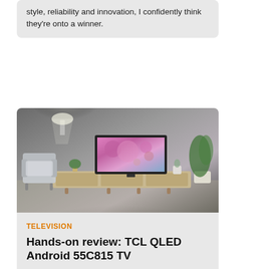style, reliability and innovation, I confidently think they're onto a winner.
[Figure (photo): A modern living room with a TCL QLED TV mounted/placed on a wooden media console, showing a colorful abstract pink/purple display. A grey armchair is on the left, plants on the right, against a concrete-look wall.]
TELEVISION
Hands-on review: TCL QLED Android 55C815 TV
Since installing this 55-inch behemoth in our modest living room, I've come to appreciate just how hard Dr Ashley Bloomfield and Jacinda have been working.